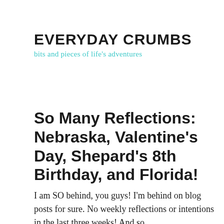EVERYDAY CRUMBS
bits and pieces of life's adventures
So Many Reflections: Nebraska, Valentine's Day, Shepard's 8th Birthday, and Florida!
I am SO behind, you guys! I'm behind on blog posts for sure. No weekly reflections or intentions in the last three weeks! And so